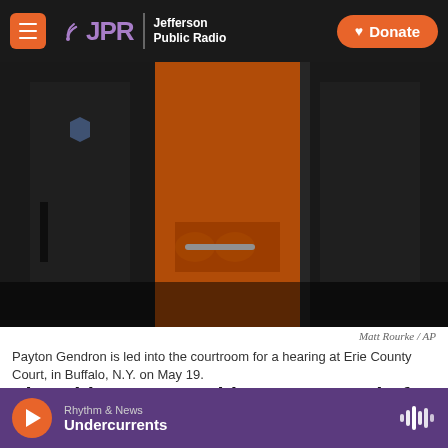JPR Jefferson Public Radio | Donate
[Figure (photo): Payton Gendron in orange jumpsuit led by law enforcement officers into courtroom]
Matt Rourke / AP
Payton Gendron is led into the courtroom for a hearing at Erie County Court, in Buffalo, N.Y. on May 19.
The white 18-year-old man accused of fatally shooting 10 Black people at a Buffalo supermarket was charged Wednesday by a grand jury with
Rhythm & News Undercurrents